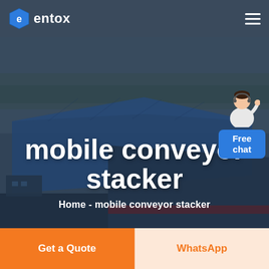[Figure (logo): Entox company logo with hexagonal shield icon and white text 'entox']
[Figure (photo): Aerial view of a large industrial warehouse/factory complex with blue roofs, hero background image overlaid with dark tint]
mobile conveyor stacker
Home - mobile conveyor stacker
Free chat
Get a Quote
WhatsApp